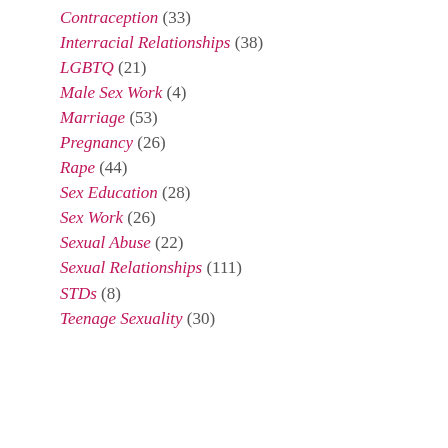Contraception (33)
Interracial Relationships (38)
LGBTQ (21)
Male Sex Work (4)
Marriage (53)
Pregnancy (26)
Rape (44)
Sex Education (28)
Sex Work (26)
Sexual Abuse (22)
Sexual Relationships (111)
STDs (8)
Teenage Sexuality (30)